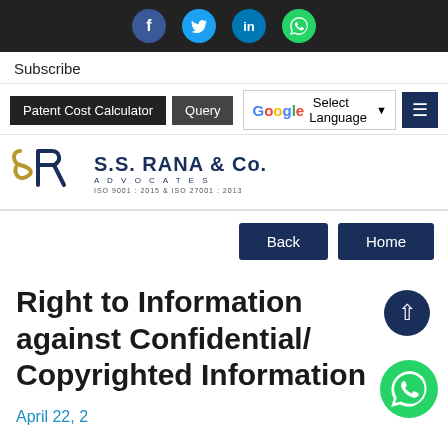[Figure (screenshot): Social media icons bar (Facebook, Twitter, LinkedIn, WhatsApp) on dark background]
Subscribe
[Figure (screenshot): Navigation bar with Patent Cost Calculator button, Query button, Google Select Language selector, hamburger menu, search, home, mail, and phone icons]
[Figure (logo): S.S. Rana & Co. Advocates logo with SR monogram. ISO 9001:2015 & ISO 27001:2013]
[Figure (screenshot): Back and Home navigation buttons]
Right to Information against Confidential/ Copyrighted Information
April 22, 2